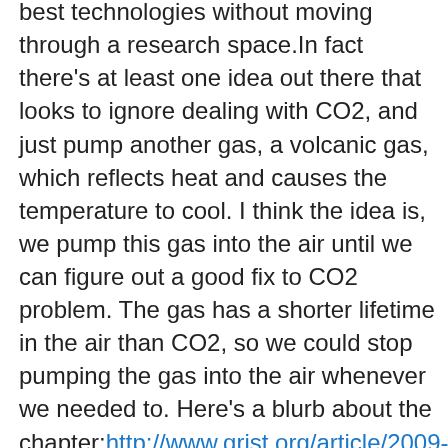appreciate that, you can't move to the best technologies without moving through a research space.In fact there's at least one idea out there that looks to ignore dealing with CO2, and just pump another gas, a volcanic gas, which reflects heat and causes the temperature to cool. I think the idea is, we pump this gas into the air until we can figure out a good fix to CO2 problem. The gas has a shorter lifetime in the air than CO2, so we could stop pumping the gas into the air whenever we needed to. Here's a blurb about the chapter:http://www.grist.org/article/2009-11-03-superfreakonomics-chapter-climate-changeAs to the costs, I think that the freak out over the costs of dealing with climate change are overblown. If you remember the acid rain